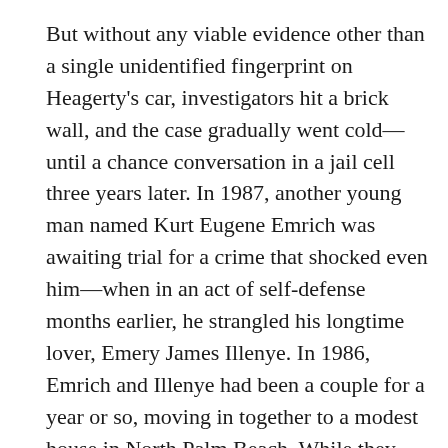But without any viable evidence other than a single unidentified fingerprint on Heagerty's car, investigators hit a brick wall, and the case gradually went cold—until a chance conversation in a jail cell three years later. In 1987, another young man named Kurt Eugene Emrich was awaiting trial for a crime that shocked even him—when in an act of self-defense months earlier, he strangled his longtime lover, Emery James Illenye. In 1986, Emrich and Illenye had been a couple for a year or so, moving in together to a modest house in North Palm Beach. While they both worked to pay the bills, it's fair to say that Illenye had a slightly higher-profile job: serving as personal butler to Donald and Ivana Trump, at their newly-purchased Mar-a-Lago estate.
According to Graham Brunk, who tells the whole sordid story in his book Solving the West Palm Beach Murder of